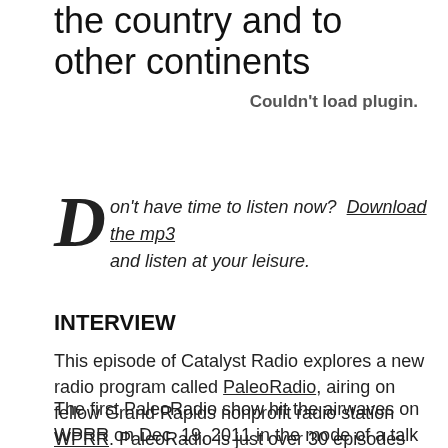the country and to other continents
Couldn't load plugin.
Don't have time to listen now?  Download the mp3 and listen at your leisure.
INTERVIEW
This episode of Catalyst Radio explores a new radio program called PaleoRadio, airing on fellow Grand Rapids nonprofit radio station WPRR. PaleoRadio is just over 30 episodes old, but already has a national, and at times, international reach.
The first PaleoRadio show hit the airwaves on WPRR on Dec. 19, 2011 in the mode of a talk radio show, but some of the first seeds of the program started with cable